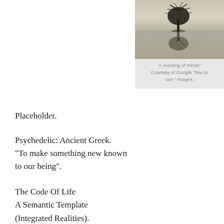[Figure (photo): Black and white / sepia photograph of a lone bare tree reflected in still water, misty atmospheric background.]
'A meeting of minds" Courtesy of Google “free to use ” images.
Placeholder.
Psychedelic: Ancient Greek. “To make something new known to our being”.
The Code Of Life
A Semantic Template
(Integrated Realities).